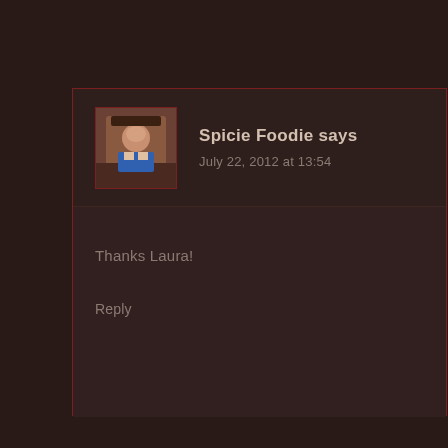Spicie Foodie says
July 22, 2012 at 13:54
Thanks Laura!
Reply